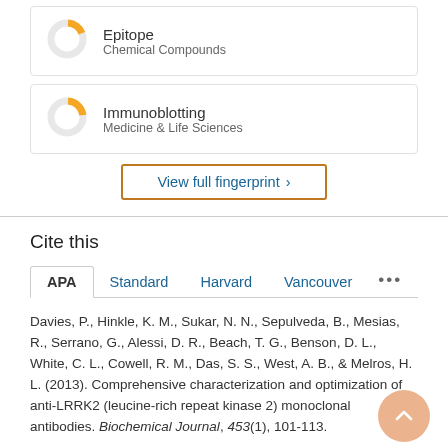[Figure (donut-chart): Small donut chart with orange segment, labeled Epitope, Chemical Compounds]
Epitope
Chemical Compounds
[Figure (donut-chart): Small donut chart with orange segment, labeled Immunoblotting, Medicine & Life Sciences]
Immunoblotting
Medicine & Life Sciences
View full fingerprint >
Cite this
APA  Standard  Harvard  Vancouver  ...
Davies, P., Hinkle, K. M., Sukar, N. N., Sepulveda, B., Mesias, R., Serrano, G., Alessi, D. R., Beach, T. G., Benson, D. L., White, C. L., Cowell, R. M., Das, S. S., West, A. B., & Melros, H. L. (2013). Comprehensive characterization and optimization of anti-LRRK2 (leucine-rich repeat kinase 2) monoclonal antibodies. Biochemical Journal, 453(1), 101-113.